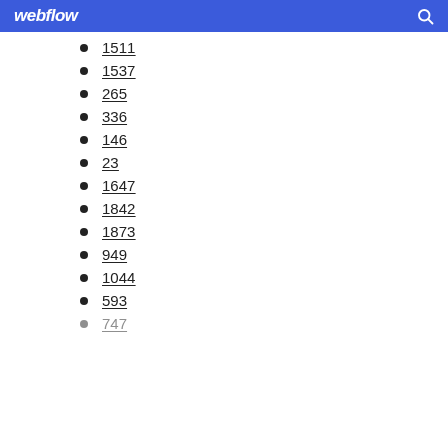webflow
1511
1537
265
336
146
23
1647
1842
1873
949
1044
593
747